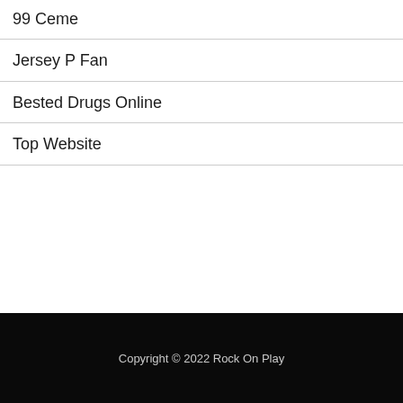99 Ceme
Jersey P Fan
Bested Drugs Online
Top Website
Copyright © 2022 Rock On Play